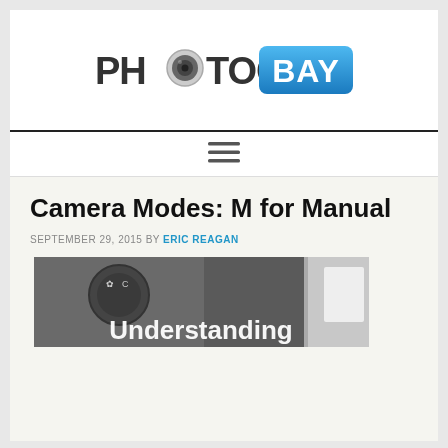[Figure (logo): Photography Bay logo — dark grey text 'PHOTOGRAPHY' with camera lens icon replacing the 'O', followed by 'BAY' in white text on a blue rounded rectangle badge.]
[Figure (other): Hamburger menu icon (three horizontal lines) centered in navigation bar.]
Camera Modes: M for Manual
SEPTEMBER 29, 2015 BY ERIC REAGAN
[Figure (photo): Camera mode dial close-up photo with 'Understanding' text overlay at the bottom, partially cropped.]